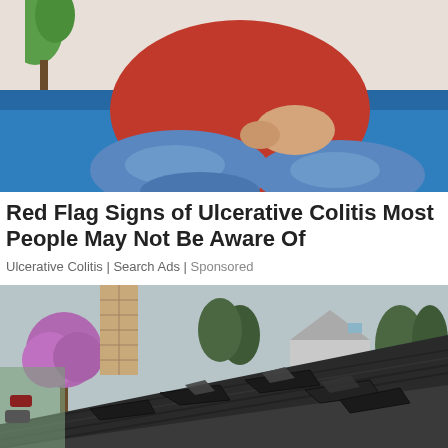[Figure (photo): Person wearing a red shirt and blue jeans sitting on a blue couch, holding their abdomen in apparent pain, with a green plant visible in the background.]
Red Flag Signs of Ulcerative Colitis Most People May Not Be Aware Of
Ulcerative Colitis | Search Ads | Sponsored
[Figure (photo): Close-up of a damaged residential roof with peeling and curling asphalt shingles. A brick chimney and purple-leafed tree are visible in the background along with neighboring houses.]